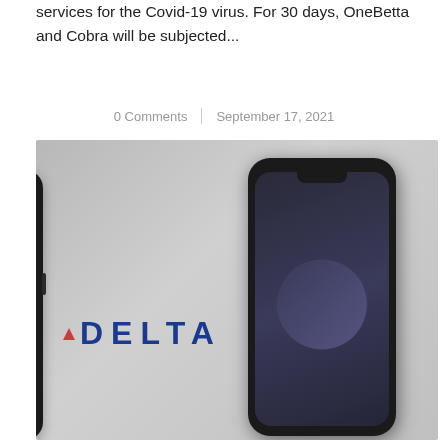services for the Covid-19 virus. For 30 days, OneBetta and Cobra will be subjected...
0 Comments | September 17, 2021
[Figure (photo): A black iPhone (rear and front view) shown against a gray gradient background, with the Delta Airlines logo (blue text 'DELTA' with red widget icon) visible on the left side of the image.]